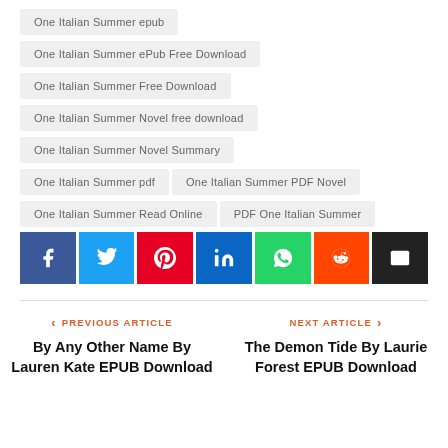One Italian Summer epub
One Italian Summer ePub Free Download
One Italian Summer Free Download
One Italian Summer Novel free download
One Italian Summer Novel Summary
One Italian Summer pdf
One Italian Summer PDF Novel
One Italian Summer Read Online
PDF One Italian Summer
[Figure (infographic): Social share buttons: Facebook (blue), Twitter (light blue), Pinterest (red), LinkedIn (dark blue), WhatsApp (green), Reddit (orange), Email (black)]
PREVIOUS ARTICLE — By Any Other Name By Lauren Kate EPUB Download
NEXT ARTICLE — The Demon Tide By Laurie Forest EPUB Download